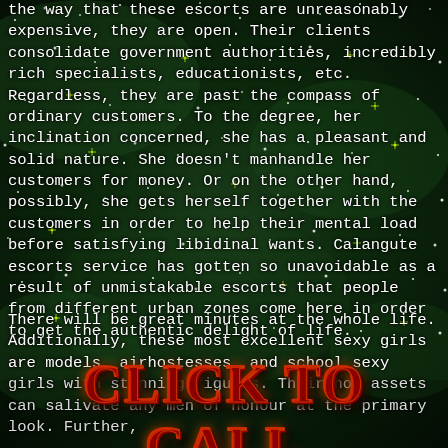the way that these escorts are unreasonably expensive, they are open. Their clients consolidate government authorities, incredibly rich specialists, educationists, etc. Regardless, they are past the compass of ordinary customers. To the degree, her inclination concerned, she has a pleasant and solid nature. She doesn't manhandle her customers for money. Or on the other hand, possibly, she gets herself together with the customers in order to help their mental load before satisfying libidinal wants. Calangute escorts service has gotten so unavoidable as a result of unmistakable escorts that people from different urban zones come here in order to get the authentic delight of life.
There will be great minutes at the whole life. Additionally, these most excellent sexy girls are models, airhostesses, and school sexy girls with stunning figures. Their hot assets can salivate any men of honour at the primary look. Further,
CLICK TO CALL